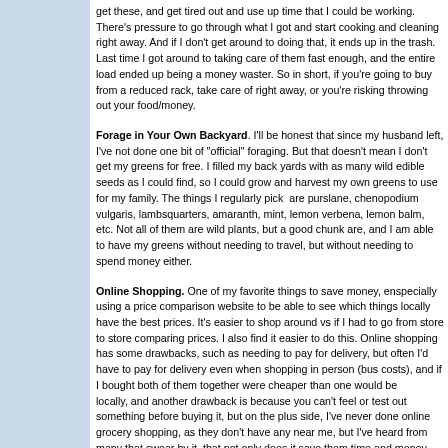get these, and get tired out and use up time that I could be working. There's pressure to go through what I got and start cooking and cleaning right away. And if I don't get around to doing that, it ends up in the trash. Last time I got around to taking care of them fast enough, and the entire load ended up being a money waster. So in short, if you're going to buy from a reduced rack, take care of right away, or you're risking throwing out your food/money.
Forage in Your Own Backyard. I'll be honest that since my husband left, I've not done one bit of "official" foraging. But that doesn't mean I don't get my greens for free. I filled my back yards with as many wild edible seeds as I could find, so I could grow and harvest my own greens to use for my family. The things I regularly pick are purslane, chenopodium vulgaris, lambsquarters, amaranth, mint, lemon verbena, lemon balm, etc. Not all of them are wild plants, but a good chunk are, and I am able to have my greens without needing to travel, but without needing to spend money either.
Online Shopping. One of my favorite things to save money, especially using a price comparison website to be able to see which things locally have the best prices. It's easier to shop around vs if I had to go from store to store comparing prices. I also find it easier to do this. Online shopping has some drawbacks, such as needing to pay for delivery, but often I'd have to pay for delivery even when shopping in person (bus costs), and if I bought both of them together were cheaper than one would be locally, and another drawback is because you can't feel or test out something before buying it, but on the plus side, I've never done online grocery shopping, as they don't have any near me, but I've heard from many that swear by it, that not only does it save them time and money, but it stops impulse buying- they buy only what they need and thereby